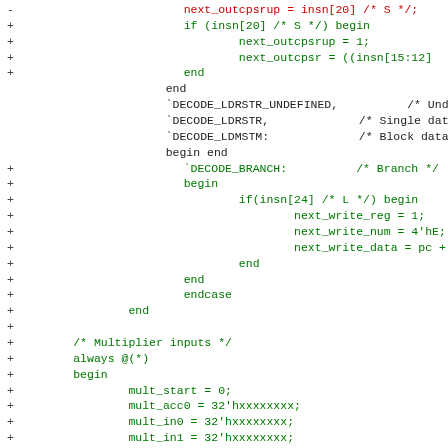[Figure (screenshot): Source code diff showing Verilog HDL code. Red lines (minus) show removed code, green lines (plus) show added code, black lines show unchanged context. The code includes logic for next_outcpsrup, DECODE_LDRSTR_UNDEFINED, DECODE_LDRSTR, DECODE_LDMSTM, DECODE_BRANCH with branch logic for insn[24], and Multiplier inputs section with always @(*) block, mult_start, mult_acc0, mult_in0, mult_in1 assignments, and casez(insn) DECODE_ALU_MULT.]